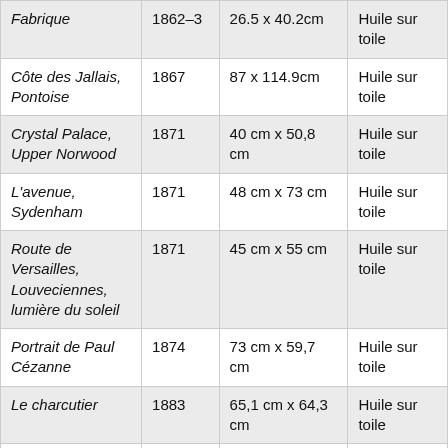| Fabrique | 1862–3 | 26.5 x 40.2cm | Huile sur toile |
| Côte des Jallais, Pontoise | 1867 | 87 x 114.9cm | Huile sur toile |
| Crystal Palace, Upper Norwood | 1871 | 40 cm x 50,8 cm | Huile sur toile |
| L'avenue, Sydenham | 1871 | 48 cm x 73 cm | Huile sur toile |
| Route de Versailles, Louveciennes, lumière du soleil | 1871 | 45 cm x 55 cm | Huile sur toile |
| Portrait de Paul Cézanne | 1874 | 73 cm x 59,7 cm | Huile sur toile |
| Le charcutier | 1883 | 65,1 cm x 64,3 cm | Huile sur toile |
| Deux jeunes… |  | 89,5 cm x … | Huile sur … |